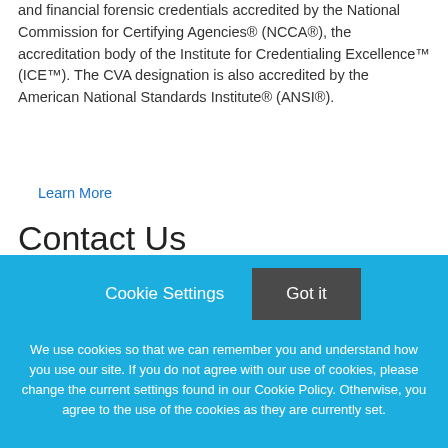and financial forensic credentials accredited by the National Commission for Certifying Agencies® (NCCA®), the accreditation body of the Institute for Credentialing Excellence™ (ICE™). The CVA designation is also accredited by the American National Standards Institute® (ANSI®).
Learn More
Contact Us
📍 1218 East 7800 South, Suite 301
Sandy, UT 84094
Cookie Settings   Got it
We use cookies so that we can remember you and understand how you use our site. If you do not agree with our use of cookies, please change the current settings found in our Cookie Policy. Otherwise, you agree to the use of the cookies as they are currently set.